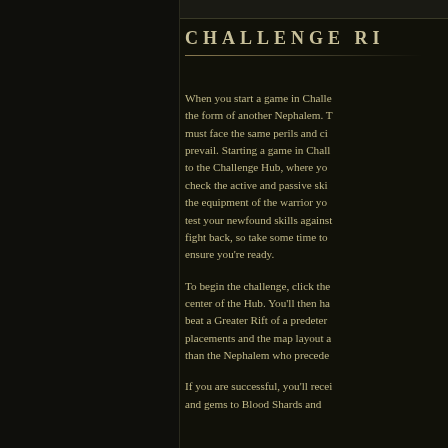CHALLENGE RI
When you start a game in Challe... the form of another Nephalem. T... must face the same perils and ci... prevail. Starting a game in Chall... to the Challenge Hub, where yo... check the active and passive ski... the equipment of the warrior yo... test your newfound skills against... fight back, so take some time to ... ensure you're ready.
To begin the challenge, click the ... center of the Hub. You'll then ha... beat a Greater Rift of a predeter... placements and the map layout a... than the Nephalem who precede...
If you are successful, you'll recei... and gems to Blood Shards and...